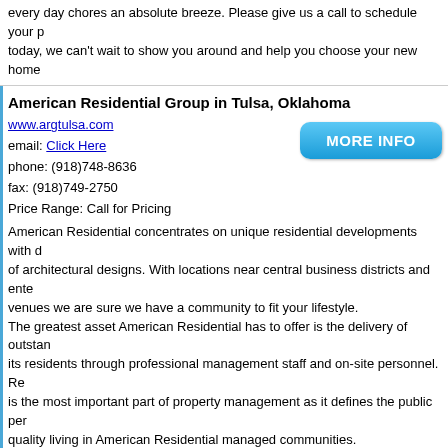every day chores an absolute breeze. Please give us a call to schedule your p today, we can't wait to show you around and help you choose your new home
American Residential Group in Tulsa, Oklahoma
www.argtulsa.com
email: Click Here
phone: (918)748-8636
fax: (918)749-2750
Price Range: Call for Pricing
American Residential concentrates on unique residential developments with d of architectural designs. With locations near central business districts and ente venues we are sure we have a community to fit your lifestyle.
The greatest asset American Residential has to offer is the delivery of outstan its residents through professional management staff and on-site personnel. Re is the most important part of property management as it defines the public per quality living in American Residential managed communities.
Metro at Brady Arts District in Tulsa, Oklahoma
www.metroatbrady.com
email: Click Here
phone: (918)215-4580
fax: (918)794-0700
Price Range: Call For Pricing
Metro at Brady Arts District offers new luxury apartments in Downtown Tulsa. variety of amenities and features specifically for the urban consumer. We have bedroom apartments for rent in the Brady Arts District. Contact us today or sch and fall in love with Metro at Brady Arts District Apartments.
Urban Oaks @ 51st Apartments in Tulsa, Oklahoma